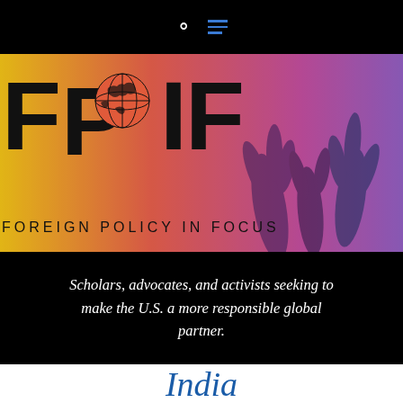[Figure (logo): FPIF Foreign Policy In Focus logo with globe icon embedded in letter P, on a colorful gradient background with silhouettes of raised hands]
Scholars, advocates, and activists seeking to make the U.S. a more responsible global partner.
India